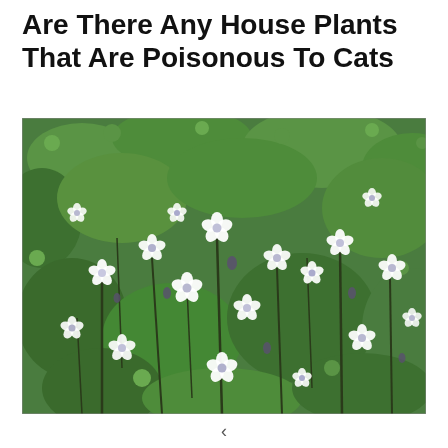Are There Any House Plants That Are Poisonous To Cats
[Figure (photo): Close-up photograph of a dense cluster of small white flowers with green foliage — a garden plant (possibly Baby's Breath or similar). The flowers are white with five petals and purple-grey stamens, set against bright green rounded leaves.]